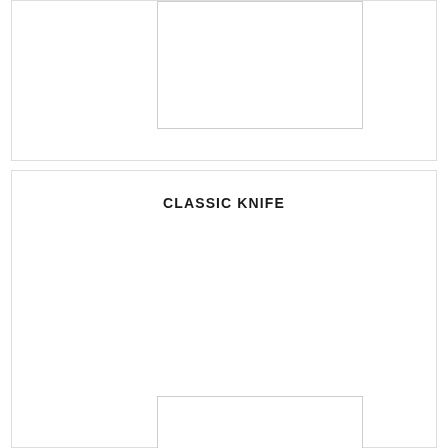[Figure (photo): Top section with a white image placeholder box centered in the upper region]
CLASSIC KNIFE
[Figure (photo): Bottom section with a white image placeholder box below the Classic Knife title]